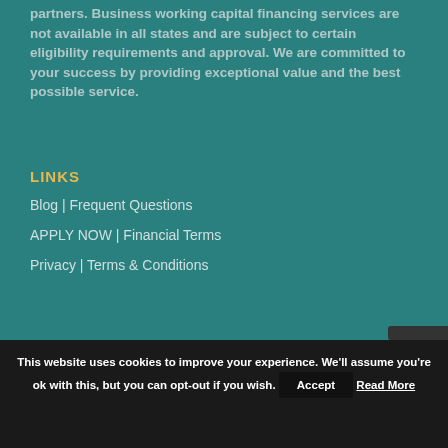partners. Business working capital financing services are not available in all states and are subject to certain eligibility requirements and approval. We are committed to your success by providing exceptional value and the best possible service.
LINKS
Blog | Frequent Questions
APPLY NOW | Financial Terms
Privacy | Terms & Conditions
This website uses cookies to improve your experience. We'll assume you're ok with this, but you can opt-out if you wish.
Accept
Read More